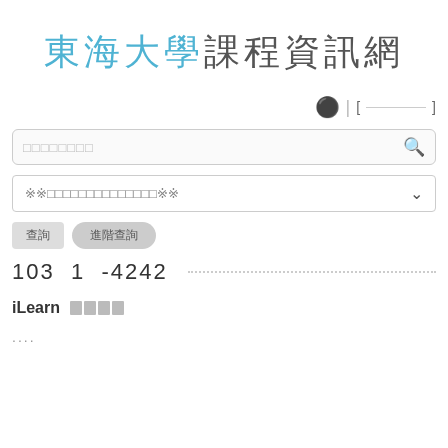東海大學課程資訊網
[ ]
[Figure (screenshot): Search input box with magnifying glass icon and placeholder text]
[Figure (screenshot): Dropdown selector with placeholder text ※※□□□□□□□□□□□□※※ and chevron arrow]
[Figure (screenshot): Two buttons: 查詢 and 進階查詢]
103  1  -4242
iLearn □□□□
....